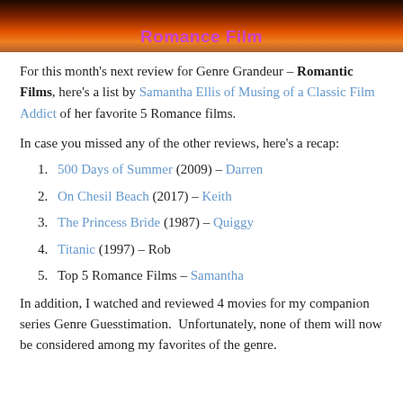[Figure (illustration): Banner image with warm sunset gradient background (dark to orange) and the text 'Romance Film' in purple bold font centered at the bottom]
For this month’s next review for Genre Grandeur – Romantic Films, here’s a list by Samantha Ellis of Musing of a Classic Film Addict of her favorite 5 Romance films.
In case you missed any of the other reviews, here’s a recap:
500 Days of Summer (2009) – Darren
On Chesil Beach (2017) – Keith
The Princess Bride (1987) – Quiggy
Titanic (1997) – Rob
Top 5 Romance Films – Samantha
In addition, I watched and reviewed 4 movies for my companion series Genre Guesstimation.  Unfortunately, none of them will now be considered among my favorites of the genre.